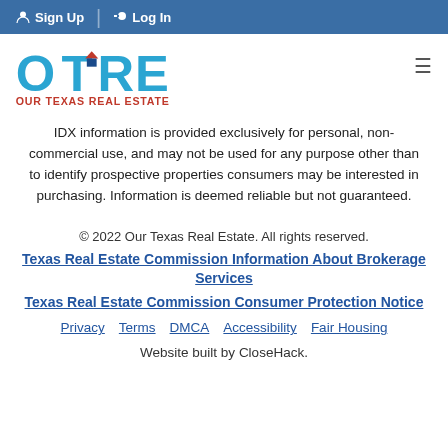Sign Up  Log In
[Figure (logo): Our Texas Real Estate logo — large colorful OTRE letters with house graphic and red text 'OUR TEXAS REAL ESTATE']
IDX information is provided exclusively for personal, non-commercial use, and may not be used for any purpose other than to identify prospective properties consumers may be interested in purchasing. Information is deemed reliable but not guaranteed.
© 2022 Our Texas Real Estate. All rights reserved.
Texas Real Estate Commission Information About Brokerage Services
Texas Real Estate Commission Consumer Protection Notice
Privacy   Terms   DMCA   Accessibility   Fair Housing
Website built by CloseHack.